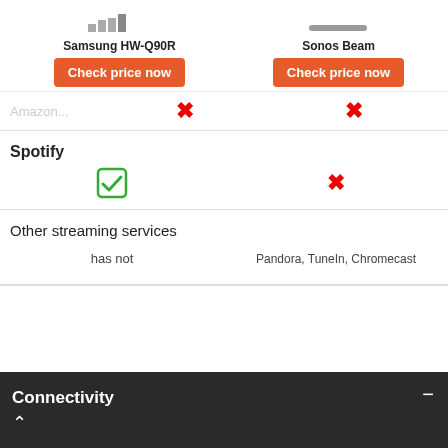[Figure (screenshot): Product comparison table showing Samsung HW-Q90R vs Sonos Beam with streaming service compatibility rows and a dark Connectivity section at the bottom.]
Samsung HW-Q90R
Sonos Beam
Check price now
Check price now
Spotify
has not
Pandora, TuneIn, Chromecast
Other streaming services
Connectivity